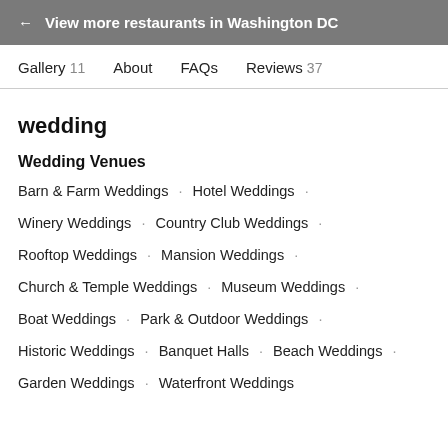← View more restaurants in Washington DC
Gallery 11   About   FAQs   Reviews 37
wedding
Wedding Venues
Barn & Farm Weddings · Hotel Weddings ·
Winery Weddings · Country Club Weddings ·
Rooftop Weddings · Mansion Weddings ·
Church & Temple Weddings · Museum Weddings ·
Boat Weddings · Park & Outdoor Weddings ·
Historic Weddings · Banquet Halls · Beach Weddings ·
Garden Weddings · Waterfront Weddings